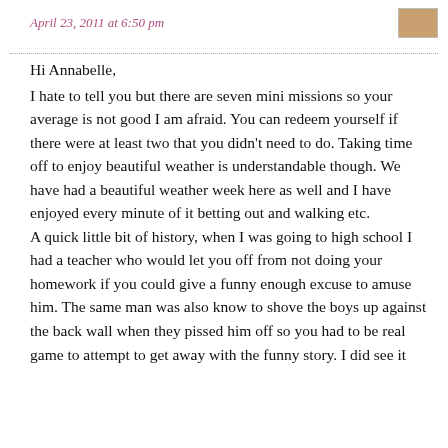April 23, 2011 at 6:50 pm
Hi Annabelle,
I hate to tell you but there are seven mini missions so your average is not good I am afraid. You can redeem yourself if there were at least two that you didn't need to do. Taking time off to enjoy beautiful weather is understandable though. We have had a beautiful weather week here as well and I have enjoyed every minute of it betting out and walking etc.
A quick little bit of history, when I was going to high school I had a teacher who would let you off from not doing your homework if you could give a funny enough excuse to amuse him. The same man was also know to shove the boys up against the back wall when they pissed him off so you had to be real game to attempt to get away with the funny story. I did see it